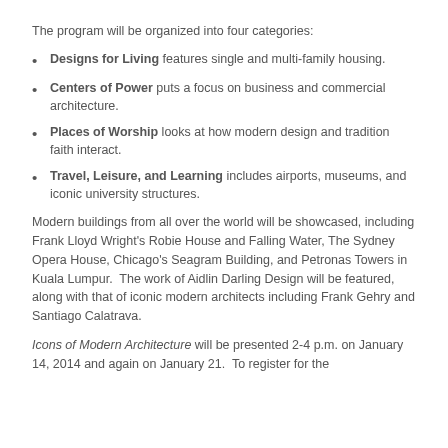The program will be organized into four categories:
Designs for Living features single and multi-family housing.
Centers of Power puts a focus on business and commercial architecture.
Places of Worship looks at how modern design and tradition faith interact.
Travel, Leisure, and Learning includes airports, museums, and iconic university structures.
Modern buildings from all over the world will be showcased, including Frank Lloyd Wright's Robie House and Falling Water, The Sydney Opera House, Chicago's Seagram Building, and Petronas Towers in Kuala Lumpur. The work of Aidlin Darling Design will be featured, along with that of iconic modern architects including Frank Gehry and Santiago Calatrava.
Icons of Modern Architecture will be presented 2-4 p.m. on January 14, 2014 and again on January 21. To register for the